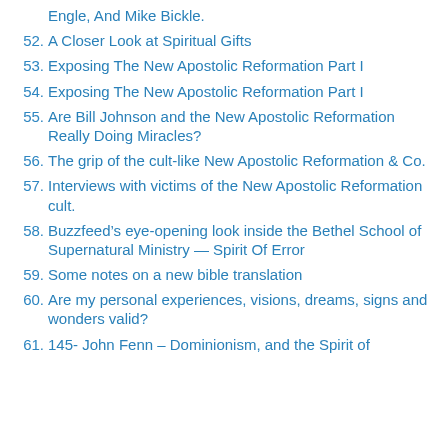Engle, And Mike Bickle.
52. A Closer Look at Spiritual Gifts
53. Exposing The New Apostolic Reformation Part I
54. Exposing The New Apostolic Reformation Part I
55. Are Bill Johnson and the New Apostolic Reformation Really Doing Miracles?
56. The grip of the cult-like New Apostolic Reformation & Co.
57. Interviews with victims of the New Apostolic Reformation cult.
58. Buzzfeed’s eye-opening look inside the Bethel School of Supernatural Ministry — Spirit Of Error
59. Some notes on a new bible translation
60. Are my personal experiences, visions, dreams, signs and wonders valid?
61. 145- John Fenn – Dominionism, and the Spirit of